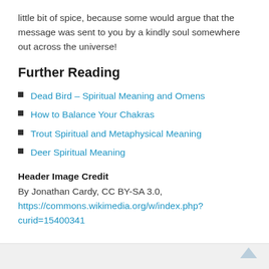little bit of spice, because some would argue that the message was sent to you by a kindly soul somewhere out across the universe!
Further Reading
Dead Bird – Spiritual Meaning and Omens
How to Balance Your Chakras
Trout Spiritual and Metaphysical Meaning
Deer Spiritual Meaning
Header Image Credit
By Jonathan Cardy, CC BY-SA 3.0, https://commons.wikimedia.org/w/index.php?curid=15400341